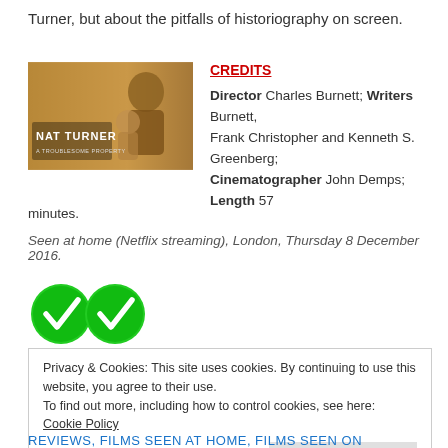Turner, but about the pitfalls of historiography on screen.
[Figure (photo): Movie poster/image for 'Nat Turner: A Troublesome Property']
CREDITS
Director Charles Burnett; Writers Burnett, Frank Christopher and Kenneth S. Greenberg; Cinematographer John Demps; Length 57 minutes.
Seen at home (Netflix streaming), London, Thursday 8 December 2016.
[Figure (illustration): Two green checkmark icons]
Privacy & Cookies: This site uses cookies. By continuing to use this website, you agree to their use.
To find out more, including how to control cookies, see here: Cookie Policy
Close and accept
REVIEWS, FILMS SEEN AT HOME, FILMS SEEN ON